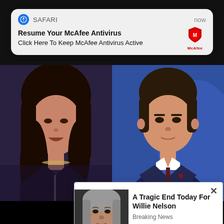[Figure (screenshot): Safari browser notification banner for McAfee Antivirus with 'Resume Your McAfee Antivirus' title and 'Click Here To Keep McAfee Antivirus Active' body text, showing McAfee logo on the right]
[Figure (photo): Side-by-side photos of two politicians: woman with dark hair on left, man in suit on right]
Would you support Ron DeSantis if he ran against Joe Biden in 2024?
[Figure (screenshot): Popup ad overlay showing image of Willie Nelson with text 'A Tragic End Today For Willie Nelson' and 'Breaking News' label, with X close button]